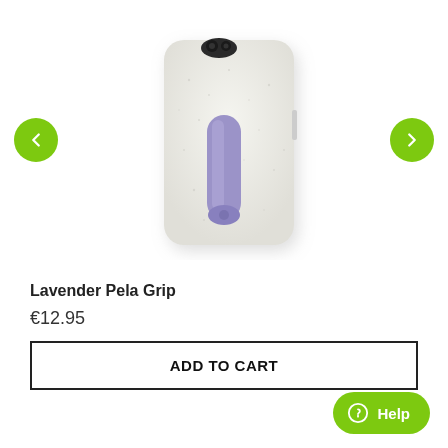[Figure (photo): White textured iPhone case (Lavender Pela Grip) with a purple vertical strap/grip on the back, shown at a slight angle. Navigation arrows on left and right sides.]
Lavender Pela Grip
€12.95
ADD TO CART